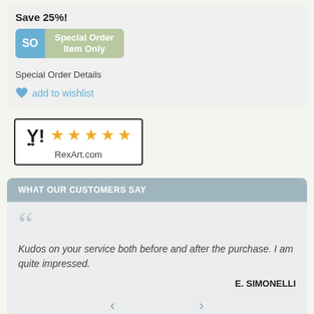Save 25%!
[Figure (other): Special Order Item Only button with SO badge in blue and beige/green label]
Special Order Details
add to wishlist
[Figure (other): RexArt.com rating badge with shopping cart logo and 5 orange stars]
WHAT OUR CUSTOMERS SAY
Kudos on your service both before and after the purchase. I am quite impressed.
E. SIMONELLI
Join the Rex Art mailing list